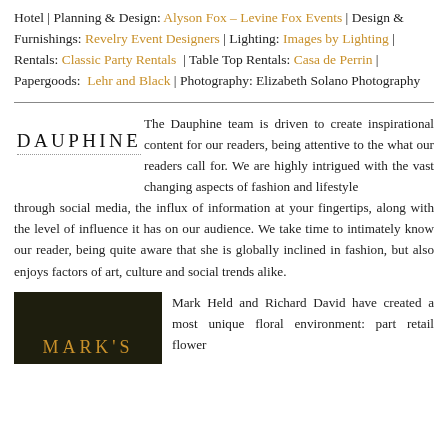Hotel | Planning & Design: Alyson Fox – Levine Fox Events | Design & Furnishings: Revelry Event Designers | Lighting: Images by Lighting | Rentals: Classic Party Rentals  | Table Top Rentals: Casa de Perrin | Papergoods:  Lehr and Black | Photography: Elizabeth Solano Photography
[Figure (logo): DAUPHINE text logo with dotted underline]
The Dauphine team is driven to create inspirational content for our readers, being attentive to the what our readers call for. We are highly intrigued with the vast changing aspects of fashion and lifestyle through social media, the influx of information at your fingertips, along with the level of influence it has on our audience. We take time to intimately know our reader, being quite aware that she is globally inclined in fashion, but also enjoys factors of art, culture and social trends alike.
[Figure (logo): MARK'S logo on dark olive/black background in gold lettering]
Mark Held and Richard David have created a most unique floral environment: part retail flower